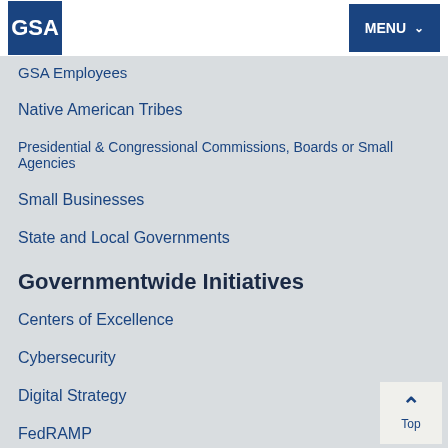GSA | MENU
GSA Employees
Native American Tribes
Presidential & Congressional Commissions, Boards or Small Agencies
Small Businesses
State and Local Governments
Governmentwide Initiatives
Centers of Excellence
Cybersecurity
Digital Strategy
FedRAMP
GSA Open Data
Identity, Credentials, and Access Management